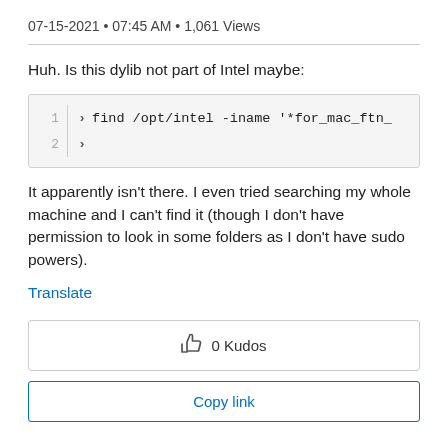07-15-2021 • 07:45 AM • 1,061 Views
Huh. Is this dylib not part of Intel maybe:
[Figure (screenshot): Code block with two lines: line 1 shows '> find /opt/intel -iname '*for_mac_ftn_' and line 2 shows '>']
It apparently isn't there. I even tried searching my whole machine and I can't find it (though I don't have permission to look in some folders as I don't have sudo powers).
Translate
0 Kudos
Copy link